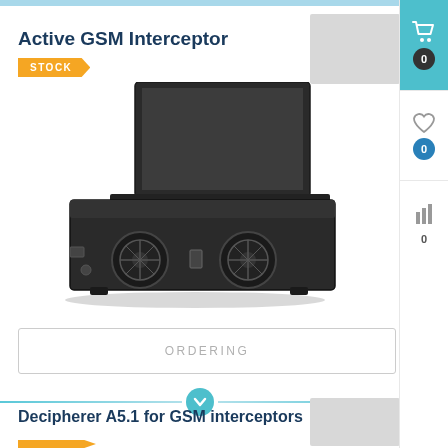Active GSM Interceptor
STOCK
[Figure (photo): Active GSM Interceptor device: a black rack-mount unit with two cooling fans and a laptop-style display open on top]
ORDERING
Decipherer A5.1 for GSM interceptors